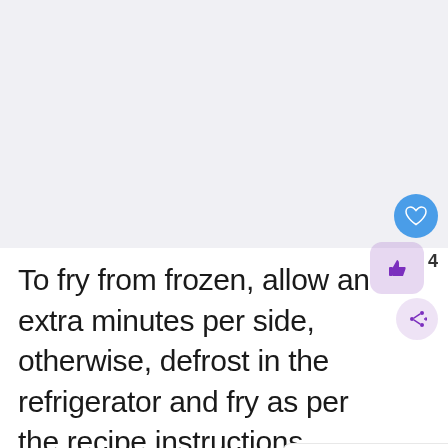To fry from frozen, allow an extra minutes per side, otherwise, defrost in the refrigerator and fry as per the recipe instructions.
[Figure (screenshot): UI overlay showing heart/like button (blue circle with heart), thumbs-up reaction button (purple-tinted rounded square with hand pointer icon) with count badge '4', and share button (purple-tinted circle with share icon)]
[Figure (screenshot): What's Next panel showing a food thumbnail image with text 'WHAT'S NEXT → Crispy' and a subtext partially visible]
[Figure (screenshot): Advertisement banner with dark background reading 'Learn the signs to prevent school shootings.' with Sandy Hook Promise logo (tree graphic), and a close X button]